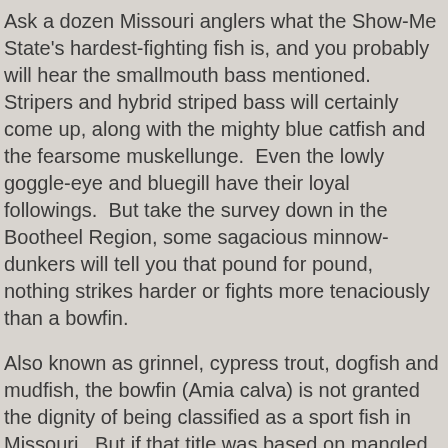Ask a dozen Missouri anglers what the Show-Me State's hardest-fighting fish is, and you probably will hear the smallmouth bass mentioned.  Stripers and hybrid striped bass will certainly come up, along with the mighty blue catfish and the fearsome muskellunge.  Even the lowly goggle-eye and bluegill have their loyal followings.  But take the survey down in the Bootheel Region, some sagacious minnow-dunkers will tell you that pound for pound, nothing strikes harder or fights more tenaciously than a bowfin.
Also known as grinnel, cypress trout, dogfish and mudfish, the bowfin (Amia calva) is not granted the dignity of being classified as a sport fish in Missouri.  But if that title was based on mangled crankbaits and broken lines, the bowfin would top the sporting list.  It has a pugilist's build, stout and heavily muscled.  And if you think muskies are torpedo-shaped, you haven't handled a bowfin.  Their bodies are as close to cylindrical as possible, while still possessing a head and tail.